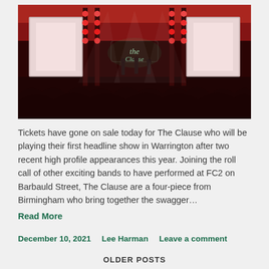[Figure (photo): Concert photo showing a band performing on a large stage with red lighting, LED screens on both sides, crowd in silhouette in the foreground, and a neon sign reading 'The Clause' at center stage.]
Tickets have gone on sale today for The Clause who will be playing their first headline show in Warrington after two recent high profile appearances this year. Joining the roll call of other exciting bands to have performed at FC2 on Barbauld Street, The Clause are a four-piece from Birmingham who bring together the swagger…
Read More
December 10, 2021   Lee Harman   Leave a comment
OLDER POSTS